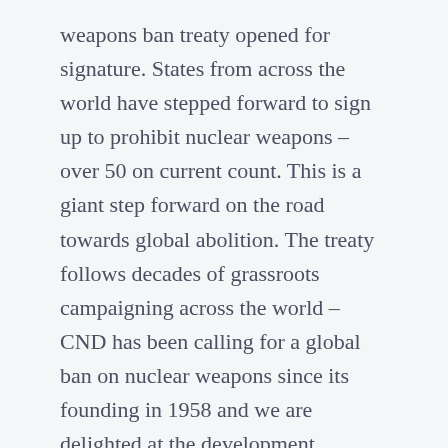weapons ban treaty opened for signature. States from across the world have stepped forward to sign up to prohibit nuclear weapons – over 50 on current count. This is a giant step forward on the road towards global abolition. The treaty follows decades of grassroots campaigning across the world – CND has been calling for a global ban on nuclear weapons since its founding in 1958 and we are delighted at the development.
Over one hundred countries are likely to sign the treaty, but will Britain make the most of this crucial opportunity for peace? At the moment – under this Tory government – things aren't